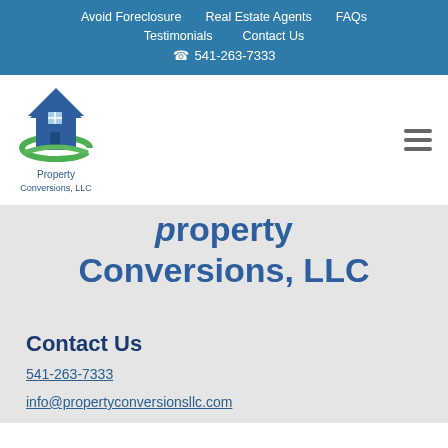Avoid Foreclosure | Real Estate Agents | FAQs | Testimonials | Contact Us | 541-263-7333
[Figure (logo): Property Conversions LLC logo: blue house with green swoosh underneath, and company name text below]
Property Conversions, LLC
Contact Us
541-263-7333
info@propertyconversionsllc.com